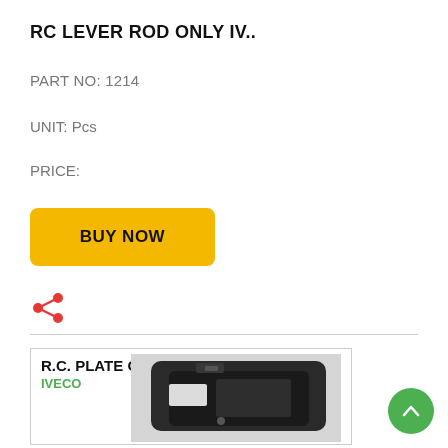RC LEVER ROD ONLY IV..
PART NO: 1214
UNIT: Pcs
PRICE:
BUY NOW
[Figure (illustration): Red share icon]
[Figure (photo): Product card showing R.C. PLATE ONLY for IVECO with photo of a black plastic door handle plate component]